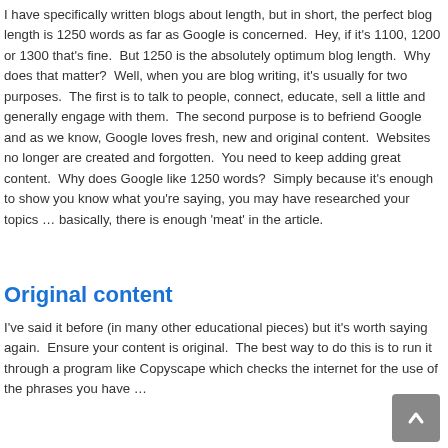I have specifically written blogs about length, but in short, the perfect blog length is 1250 words as far as Google is concerned.  Hey, if it's 1100, 1200 or 1300 that's fine.  But 1250 is the absolutely optimum blog length.  Why does that matter?  Well, when you are blog writing, it's usually for two purposes.  The first is to talk to people, connect, educate, sell a little and generally engage with them.  The second purpose is to befriend Google and as we know, Google loves fresh, new and original content.  Websites no longer are created and forgotten.  You need to keep adding great content.  Why does Google like 1250 words?  Simply because it's enough to show you know what you're saying, you may have researched your topics … basically, there is enough 'meat' in the article.
Original content
I've said it before (in many other educational pieces) but it's worth saying again.  Ensure your content is original.  The best way to do this is to run it through a program like Copyscape which checks the internet for the use of the phrases you have …